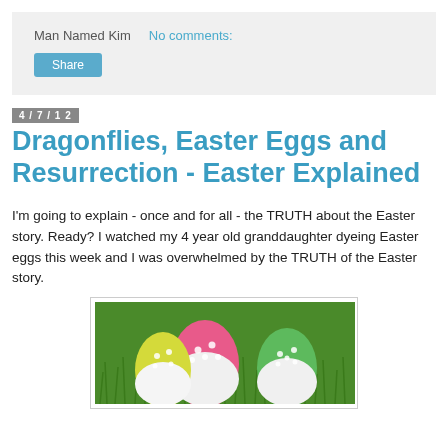Man Named Kim   No comments:
Share
4/7/12
Dragonflies, Easter Eggs and Resurrection - Easter Explained
I'm going to explain - once and for all - the TRUTH about the Easter story. Ready? I watched my 4 year old granddaughter dyeing Easter eggs this week and I was overwhelmed by the TRUTH of the Easter story.
[Figure (photo): Colorful Easter eggs with polka dot patterns (pink, yellow, green) nestled in green grass]